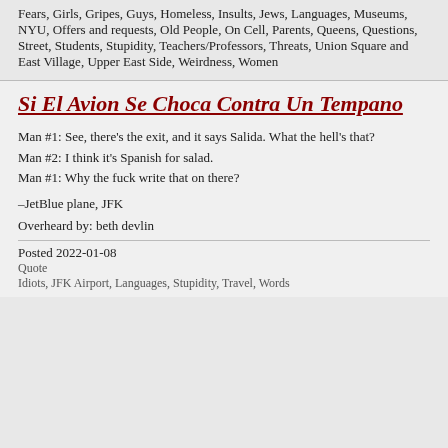Fears, Girls, Gripes, Guys, Homeless, Insults, Jews, Languages, Museums, NYU, Offers and requests, Old People, On Cell, Parents, Queens, Questions, Street, Students, Stupidity, Teachers/Professors, Threats, Union Square and East Village, Upper East Side, Weirdness, Women
Si El Avion Se Choca Contra Un Tempano
Man #1: See, there's the exit, and it says Salida. What the hell's that?
Man #2: I think it's Spanish for salad.
Man #1: Why the fuck write that on there?
–JetBlue plane, JFK
Overheard by: beth devlin
Posted 2022-01-08
Quote
Idiots, JFK Airport, Languages, Stupidity, Travel, Words